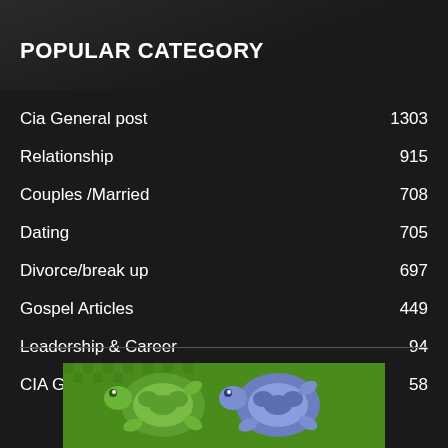POPULAR CATEGORY
Cia General post	1303
Relationship	915
Couples /Married	708
Dating	705
Divorce/break up	697
Gospel Articles	449
Leadership & Career	94
CIA GEN	58
[Figure (illustration): Colorful turtle illustration on a green textured background at the bottom of the page]